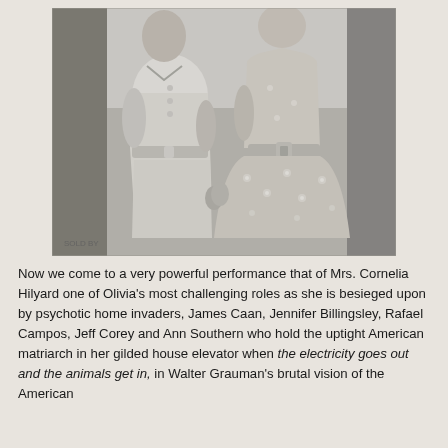[Figure (photo): Black and white vintage photograph of two women from approximately the 1950s-60s, shown from the waist up, wearing period dresses with belts. One wears a double-breasted short-sleeve dress, the other wears a floral full-skirted dress with a square buckle belt. They appear to be holding hands.]
Now we come to a very powerful performance that of Mrs. Cornelia Hilyard one of Olivia's most challenging roles as she is besieged upon by psychotic home invaders, James Caan, Jennifer Billingsley, Rafael Campos, Jeff Corey and Ann Southern who hold the uptight American matriarch in her gilded house elevator when the electricity goes out and the animals get in, in Walter Grauman's brutal vision of the American